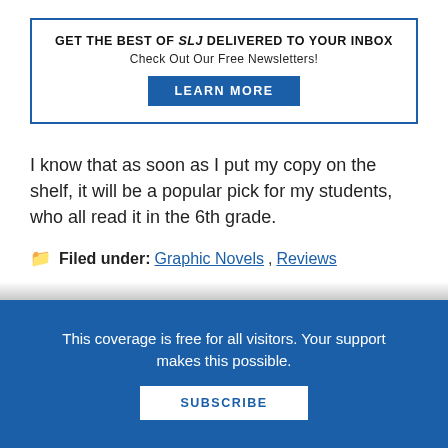[Figure (other): Newsletter signup box with border, title 'GET THE BEST OF SLJ DELIVERED TO YOUR INBOX', subtitle 'Check Out Our Free Newsletters!', and a blue 'LEARN MORE' button]
I know that as soon as I put my copy on the shelf, it will be a popular pick for my students, who all read it in the 6th grade.
Filed under: Graphic Novels, Reviews
This coverage is free for all visitors. Your support makes this possible.